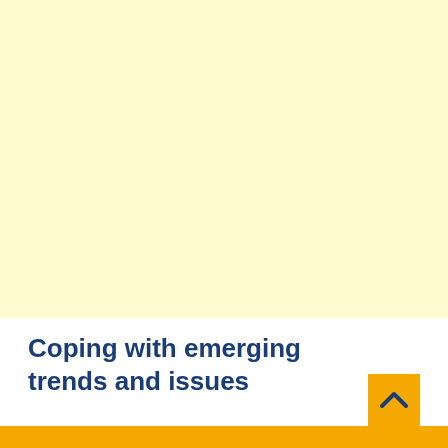[Figure (other): Large light yellow background area filling the top portion of the page]
Coping with emerging trends and issues
[Figure (other): Orange navigation arrow button (chevron up) in bottom right area]